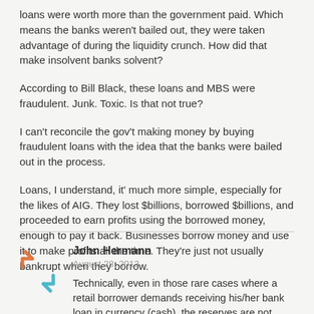loans were worth more than the government paid. Which means the banks weren't bailed out, they were taken advantage of during the liquidity crunch. How did that make insolvent banks solvent?
According to Bill Black, these loans and MBS were fraudulent. Junk. Toxic. Is that not true?
I can't reconcile the gov't making money by buying fraudulent loans with the idea that the banks were bailed out in the process.
Loans, I understand, it' much more simple, especially for the likes of AIG. They lost $billions, borrowed $billions, and proceeded to earn profits using the borrowed money, enough to pay it back. Businesses borrow money and use it to make profits all the time. They're just not usually bankrupt when they borrow.
John Hermann
August 28, 2013
Technically, even in those rare cases where a retail borrower demands receiving his/her bank loan in currency (cash), the reserves are not loaned out. The